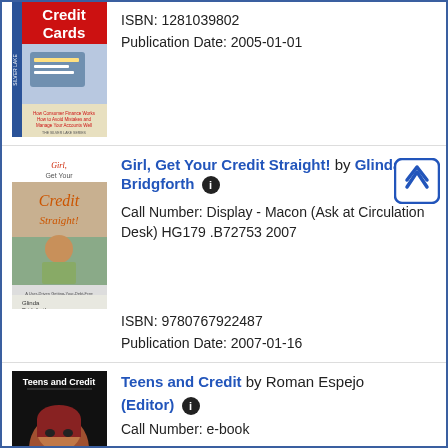[Figure (illustration): Book cover for a credit cards book (Silver Lake series). Red title text 'Credit Cards' on yellow/white background with financial imagery.]
ISBN: 1281039802
Publication Date: 2005-01-01
[Figure (illustration): Book cover for 'Girl, Get Your Credit Straight!' by Glinda Bridgforth. Shows a woman on phone, red and orange title text.]
Girl, Get Your Credit Straight! by Glinda Bridgforth
Call Number: Display - Macon (Ask at Circulation Desk) HG179 .B72753 2007
ISBN: 9780767922487
Publication Date: 2007-01-16
[Figure (illustration): Book cover for 'Teens and Credit' by Roman Espejo (Editor). Dark background with painting of a person's face.]
Teens and Credit by Roman Espejo (Editor)
Call Number: e-book
ISBN: 0737744421